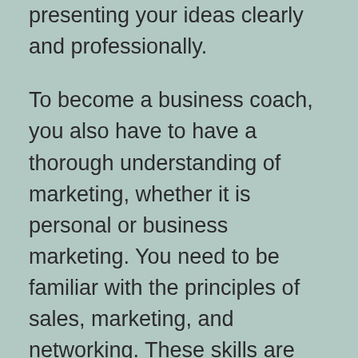presenting your ideas clearly and professionally.
To become a business coach, you also have to have a thorough understanding of marketing, whether it is personal or business marketing. You need to be familiar with the principles of sales, marketing, and networking. These skills are vital if you’re going to help others make good decisions about their businesses, products, and/or services.
To become a successful Business Coach, you’ll need to develop relationships with those